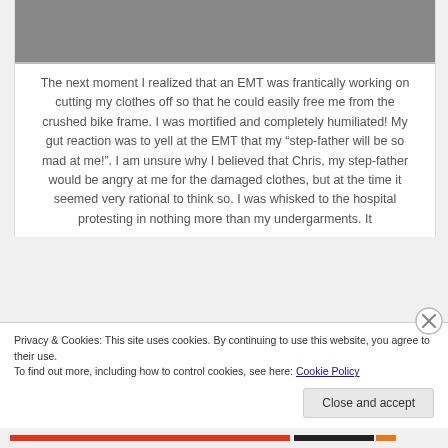[Figure (photo): Grayscale photo strip showing textured/rough surface, partially cropped at top of page]
The next moment I realized that an EMT was frantically working on cutting my clothes off so that he could easily free me from the crushed bike frame.  I was mortified and completely humiliated!  My gut reaction was to yell at the EMT that my “step-father will be so mad at me!”.  I am unsure why I believed that Chris, my step-father would be angry at me for the damaged clothes, but at the time it seemed very rational to think so.  I was whisked to the hospital protesting in nothing more than my undergarments.  It was quite revealing and embarrassing to have my
Privacy & Cookies: This site uses cookies. By continuing to use this website, you agree to their use.
To find out more, including how to control cookies, see here: Cookie Policy
Close and accept